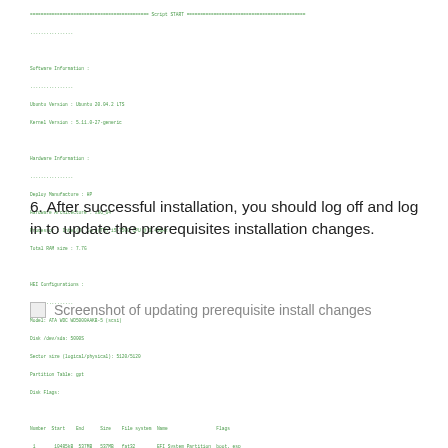[Figure (screenshot): Terminal output showing script START, Software Information, Hardware Information, HEI Configurations with disk partition table, and Hardware Miscellaneous section with root user check, internet connection check, and package update messages. Text in green monospace font.]
6. After successful installation, you should log off and log in to update the prerequisites installation changes.
[Figure (screenshot): Screenshot of updating prerequisite install changes (broken image placeholder)]